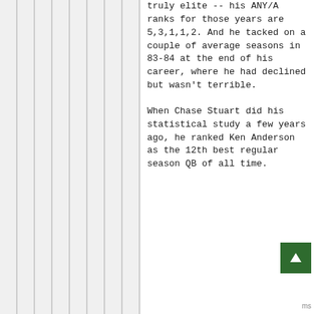truly elite -- his ANY/A ranks for those years are 5,3,1,1,2. And he tacked on a couple of average seasons in 83-84 at the end of his career, where he had declined but wasn't terrible.
When Chase Stuart did his statistical study a few years ago, he ranked Ken Anderson as the 12th best regular season QB of all time.